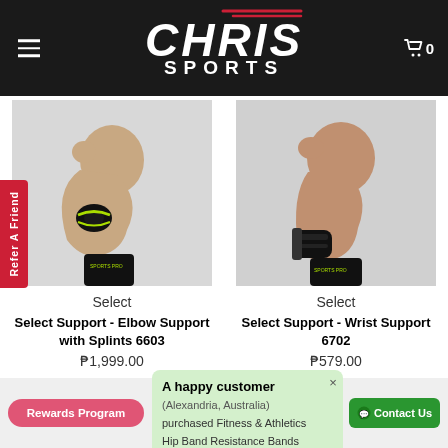Chris Sports — navigation header with menu icon and cart (0 items)
[Figure (logo): Chris Sports logo — white bold italic text 'CHRIS' with red accent lines above, 'SPORTS' beneath in white on dark background]
[Figure (photo): Athlete wearing black elbow support brace with green accents, flexing arm, shirtless]
Select
Select Support - Elbow Support with Splints 6603
₱1,999.00
[Figure (photo): Athlete wearing black wrist support wrap, flexing arm, shirtless]
Select
Select Support - Wrist Support 6702
₱579.00
Refer A Friend
Rewards Program
A happy customer (Alexandria, Australia)
purchased Fitness & Athletics Hip Band Resistance Bands
Contact Us